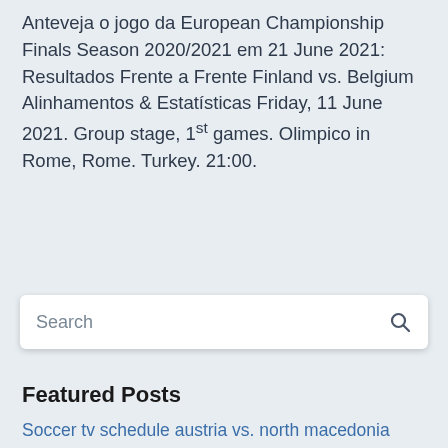Anteveja o jogo da European Championship Finals Season 2020/2021 em 21 June 2021: Resultados Frente a Frente Finland vs. Belgium Alinhamentos & Estatísticas Friday, 11 June 2021. Group stage, 1st games. Olimpico in Rome, Rome. Turkey. 21:00.
Search
Featured Posts
Soccer tv schedule austria vs. north macedonia